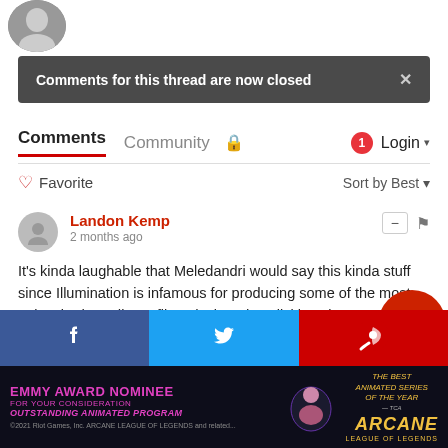[Figure (photo): Partial circular profile photo of a person, cropped at top-left]
Comments for this thread are now closed ×
Comments   Community   🔒   1  Login ▾
♡ Favorite   Sort by Best ▾
Landon Kemp
2 months ago
It's kinda laughable that Meledandri would say this kinda stuff since Illumination is infamous for producing some of the most uninspired, mediocre films designed explicitly to be crowd pleasers that aim for the biggest market possible and pander to the lowest common denominator. I will give him credit for realizing just how much of a mess Twit and how using their point of view is a slippery slope
[Figure (screenshot): Social share bar with Facebook, Twitter, and a red icon button at bottom]
[Figure (photo): Advertisement banner for Arcane - League of Legends Emmy Award Nominee for Outstanding Animated Program]